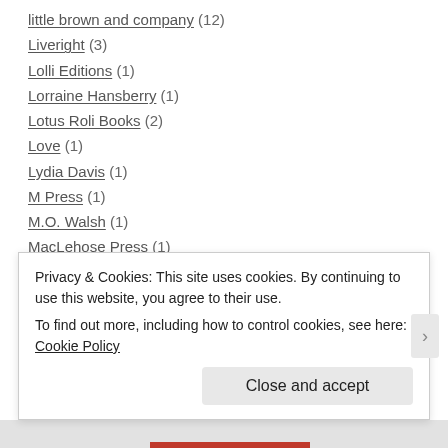little brown and company (12)
Liveright (3)
Lolli Editions (1)
Lorraine Hansberry (1)
Lotus Roli Books (2)
Love (1)
Lydia Davis (1)
M Press (1)
M.O. Walsh (1)
MacLehose Press (1)
macmillan (34)
Macmillan USA (47)
Macmillan's Children's Books (1)
Privacy & Cookies: This site uses cookies. By continuing to use this website, you agree to their use.
To find out more, including how to control cookies, see here: Cookie Policy
Close and accept